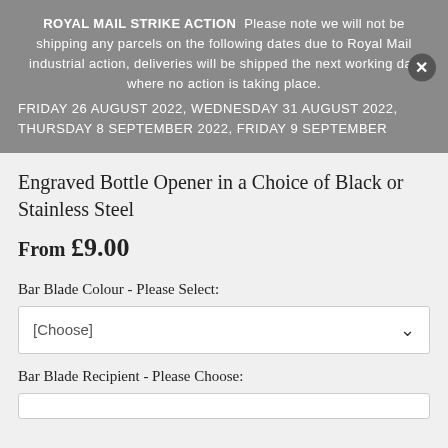ROYAL MAIL STRIKE ACTION Please note we will not be shipping any parcels on the following dates due to Royal Mail industrial action, deliveries will be shipped the next working day where no action is taking place. FRIDAY 26 AUGUST 2022, WEDNESDAY 31 AUGUST 2022, THURSDAY 8 SEPTEMBER 2022, FRIDAY 9 SEPTEMBER
Engraved Bottle Opener in a Choice of Black or Stainless Steel
From £9.00
Bar Blade Colour - Please Select:
[Choose]
Bar Blade Recipient - Please Choose: